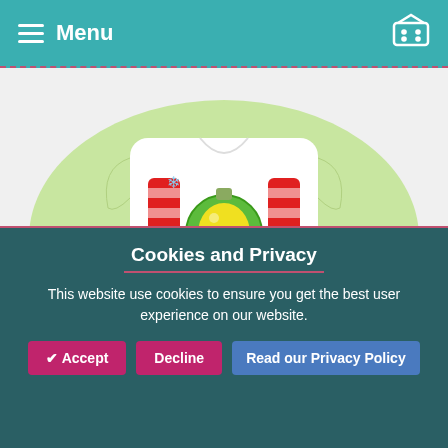Menu
[Figure (photo): A white children's shirt with a Christmas 'Joy To The World' applique design featuring red and white striped letters, a green ornament, on a light green decorative background.]
Design details:
The Joy To The World Applique comes in 4 sizes. All sizes included with your download!
4x4: 3.90 x 3.34 inches  SC: 9753
Cookies and Privacy
This website use cookies to ensure you get the best user experience on our website.
✔ Accept
Decline
Read our Privacy Policy